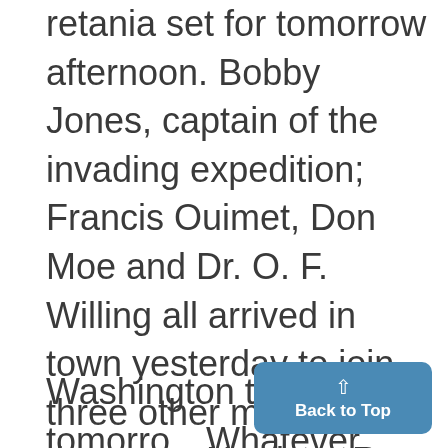retania set for tomorrow afternoon. Bobby Jones, captain of the invading expedition; Francis Ouimet, Don Moe and Dr. O. F. Willing all arrived in town yesterday to join three other members of the team, Harrison R. "Jimmy" Johnston, national amateur champion, George V'on Elm and George Voigt. The eighth member of the squad, Roland MacKenzie, is expected from
Washington today or tomorrow. Whatever other members of th